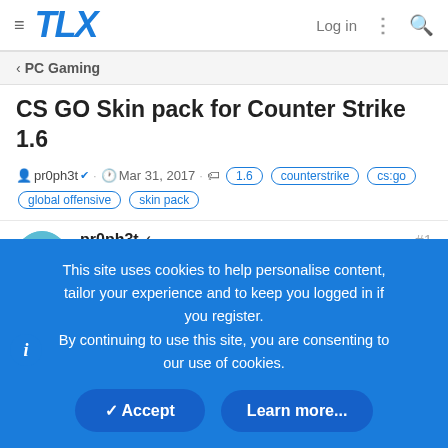TLX — Log in
< PC Gaming
CS GO Skin pack for Counter Strike 1.6
pr0ph3t ✓ · Mar 31, 2017 · 1.6 counterstrike cs:go global offensive skin pack
pr0ph3t ✓ Expert ✏ × MOD #1 Mar 31, 2017
Hey CS lovers, im looking for the CS GO skin pack for my CS
This site uses cookies to help personalise content, tailor your experience and to keep you logged in if you register. By continuing to use this site, you are consenting to our use of cookies.